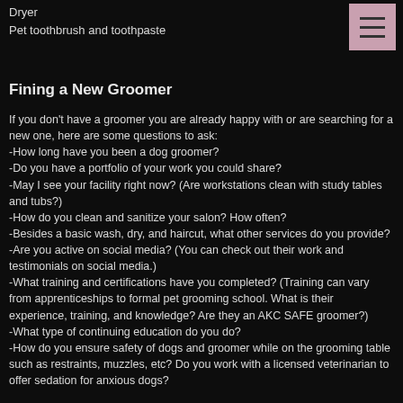Dryer
Pet toothbrush and toothpaste
Fining a New Groomer
If you don't have a groomer you are already happy with or are searching for a new one, here are some questions to ask:
-How long have you been a dog groomer?
-Do you have a portfolio of your work you could share?
-May I see your facility right now?  (Are workstations clean with study tables and tubs?)
-How do you clean and sanitize your salon?  How often?
-Besides a basic wash, dry, and haircut, what other services do you provide?
-Are you active on social media? (You can check out their work and testimonials on social media.)
-What training and certifications have you completed?  (Training can vary from apprenticeships to formal pet grooming school.  What is their experience, training, and knowledge?  Are they an AKC SAFE groomer?)
-What type of continuing education do you do?
-How do you ensure safety of dogs and groomer while on the grooming table such as restraints, muzzles, etc?  Do you work with a licensed veterinarian to offer sedation for anxious dogs?